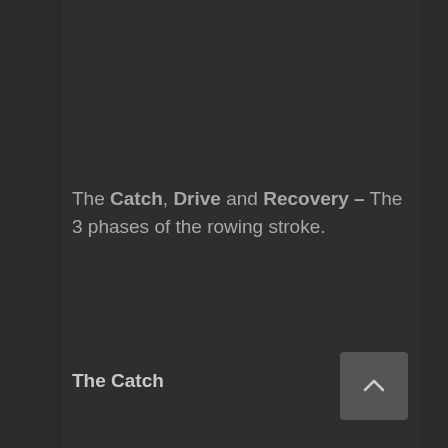The Catch, Drive and Recovery – The 3 phases of the rowing stroke.
The Catch